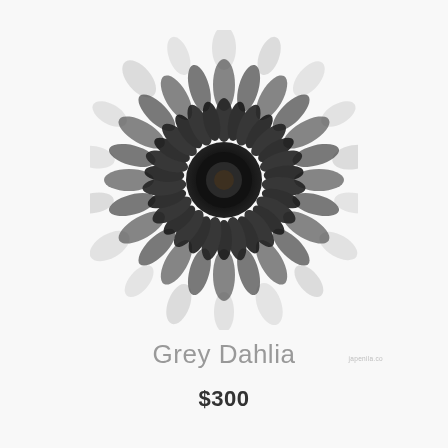[Figure (photo): Black and white top-down photograph of a Grey Dahlia flower against a light grey/white background]
Grey Dahlia
$300